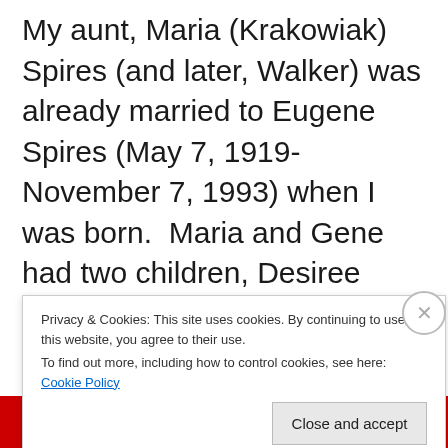My aunt, Maria (Krakowiak) Spires (and later, Walker) was already married to Eugene Spires (May 7, 1919-November 7, 1993) when I was born.  Maria and Gene had two children, Desiree “Desa” (Spires) O’Malley and Phillip Spires.  Desiree is married to Joseph
Privacy & Cookies: This site uses cookies. By continuing to use this website, you agree to their use.
To find out more, including how to control cookies, see here: Cookie Policy
Close and accept
[Figure (photo): Red banner at the bottom of the page, appears to be a website navigation or advertisement bar]